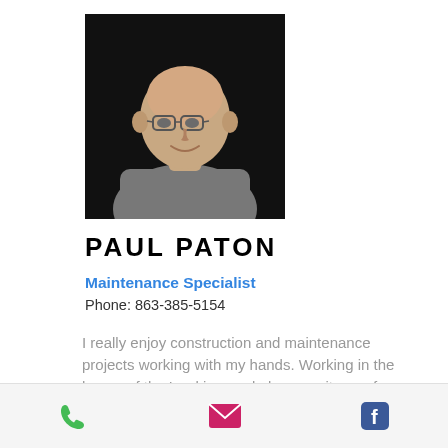[Figure (photo): Portrait photo of Paul Paton, a bald man with glasses wearing a grey long-sleeve shirt, against a dark background]
PAUL PATON
Maintenance Specialist
Phone: 863-385-5154
I really enjoy construction and maintenance projects working with my hands. Working in the house of the Lord is a real pleasure, its a safe zone for me.
Karen and I have been married for years and have 7 grandkids between
Phone | Email | Facebook